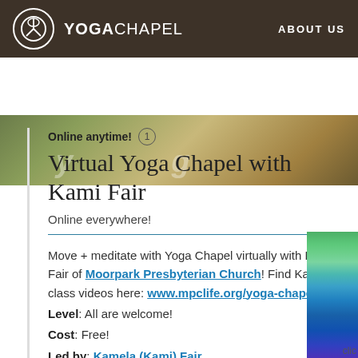YOGACHAPEL  ABOUT US
[Figure (screenshot): Partially visible hero banner with faded italic text over a textured brown/golden background]
Online anytime! (1)
Virtual Yoga Chapel with Kami Fair
Online everywhere!
Move + meditate with Yoga Chapel virtually with Kami Fair of Moorpark Presbyterian Church! Find Kami's class videos here: www.mpclife.org/yoga-chapel
Level: All are welcome!
Cost: Free!
Led by: Kamela (Kami) Fair